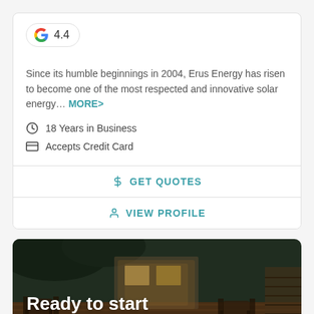[Figure (logo): Google G logo with rating badge showing 4.4]
Since its humble beginnings in 2004, Erus Energy has risen to become one of the most respected and innovative solar energy… MORE>
18 Years in Business
Accepts Credit Card
GET QUOTES
VIEW PROFILE
[Figure (photo): Outdoor patio scene with wooden Adirondack chairs and warm lighting. Text overlay reads 'Ready to start your project?']